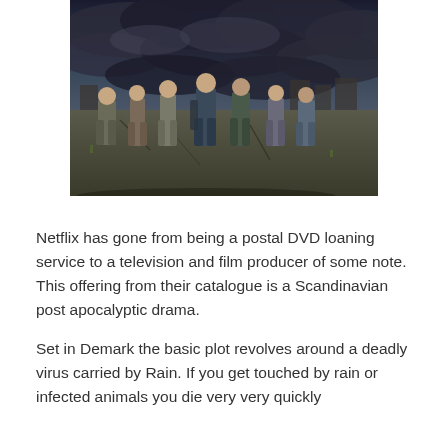[Figure (photo): A group of seven people standing on a cracked, deteriorating road in a post-apocalyptic setting. Dark storm clouds loom overhead. Ruined buildings are visible in the background. The characters wear rugged clothing and carry backpacks and weapons. The scene appears to be from the Netflix series 'The Rain'.]
Netflix has gone from being a postal DVD loaning service to a television and film producer of some note. This offering from their catalogue is a Scandinavian post apocalyptic drama.
Set in Demark the basic plot revolves around a deadly virus carried by Rain. If you get touched by rain or infected animals you die very very quickly